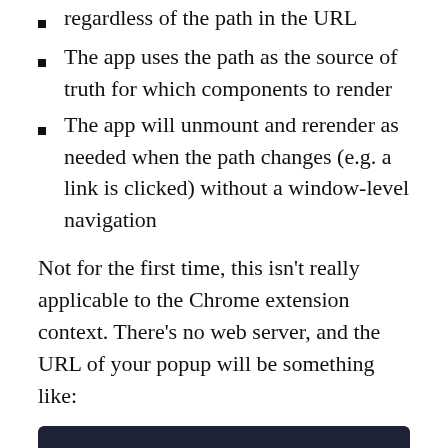regardless of the path in the URL
The app uses the path as the source of truth for which components to render
The app will unmount and rerender as needed when the path changes (e.g. a link is clicked) without a window-level navigation
Not for the first time, this isn't really applicable to the Chrome extension context. There's no web server, and the URL of your popup will be something like:
[Figure (screenshot): Dark code block showing: chrome-extension://nomnigokoajgkahpaabcdandnpeijb]
This doesn't seem like something we should be messing with or relying on. However, we can still get the benefit from our familiar tools and patterns